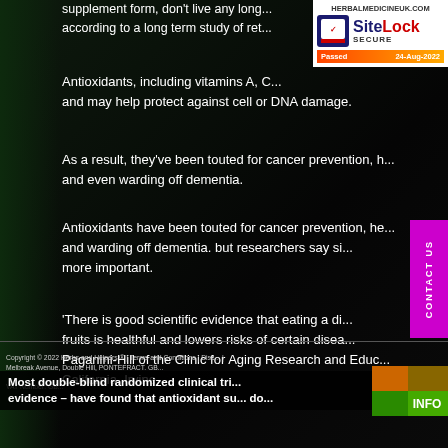supplement form, don't live any longer according to a long term study of ret...
[Figure (infographic): SiteLock SECURE badge for herbalmedicineuk.com showing 'Passed 24-Aug-2022']
Antioxidants, including vitamins A, C... and may help protect against cell or DNA damage.
As a result, they've been touted for cancer prevention, h... and even warding off dementia.
Antioxidants have been touted for cancer prevention, he... and warding off dementia. but researchers say si... more important.
[Figure (other): CONTACT US vertical magenta/pink sidebar button]
'There is good scientific evidence that eating a di... fruits is healthful and lowers risks of certain disea... Paganini-Hill of the Clinic for Aging Research and Educ... California, Irvine.
'However, it is unclear whether this is because of the a... else in these foods, other foods in people's diet, or othe... Paganini-Hill told Reuters Health by email.
Copyright © 2022 Herbs and Helpers ® | Terms and Conditions | Disc... | Melbreak Avenue, Double Hill, PONTEFRACT. GB... | VAT Number: GB...
Most double-blind randomized clinical tri... evidence – have found that antioxidant su... do...